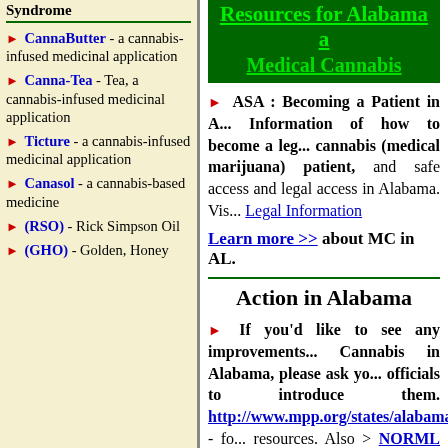Syndrome
[Figure (other): Green banner header reading: Resources for Alabama a... Medical Cannabis]
CannaButter - a cannabis-infused medicinal application
Canna-Tea - Tea, a cannabis-infused medicinal application
Ticture - a cannabis-infused medicinal application
Canasol - a cannabis-based medicine
(RSO) - Rick Simpson Oil
(GHO) - Golden, Honey
ASA : Becoming a Patient in A... Information of how to become a leg... cannabis (medical marijuana) patient, and safe access and legal access in Alabama. Vis... Legal Information
Learn more >> about MC in AL.
Action in Alabama
If you'd like to see any improvements... Cannabis in Alabama, please ask yo... officials to introduce them. http://www.mpp.org/states/alabama/ - fo... resources. Also > NORML Law Refo... Alerts <